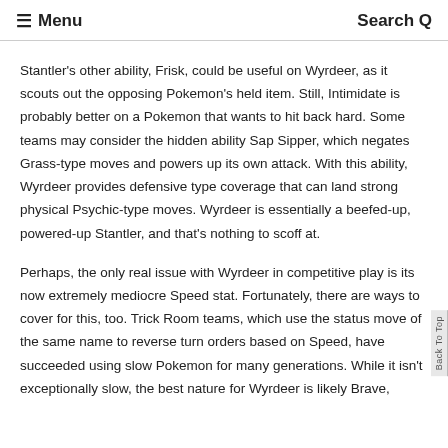≡ Menu    Search Q
Stantler's other ability, Frisk, could be useful on Wyrdeer, as it scouts out the opposing Pokemon's held item. Still, Intimidate is probably better on a Pokemon that wants to hit back hard. Some teams may consider the hidden ability Sap Sipper, which negates Grass-type moves and powers up its own attack. With this ability, Wyrdeer provides defensive type coverage that can land strong physical Psychic-type moves. Wyrdeer is essentially a beefed-up, powered-up Stantler, and that's nothing to scoff at.
Perhaps, the only real issue with Wyrdeer in competitive play is its now extremely mediocre Speed stat. Fortunately, there are ways to cover for this, too. Trick Room teams, which use the status move of the same name to reverse turn orders based on Speed, have succeeded using slow Pokemon for many generations. While it isn't exceptionally slow, the best nature for Wyrdeer is likely Brave,